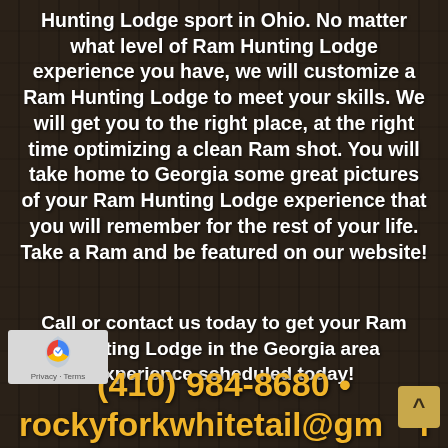Hunting Lodge sport in Ohio. No matter what level of Ram Hunting Lodge experience you have, we will customize a Ram Hunting Lodge to meet your skills. We will get you to the right place, at the right time optimizing a clean Ram shot. You will take home to Georgia some great pictures of your Ram Hunting Lodge experience that you will remember for the rest of your life. Take a Ram and be featured on our website!
Call or contact us today to get your Ram Hunting Lodge in the Georgia area experience scheduled today!
(410) 984-8680 •
rockyforkwhitetail@gm...l